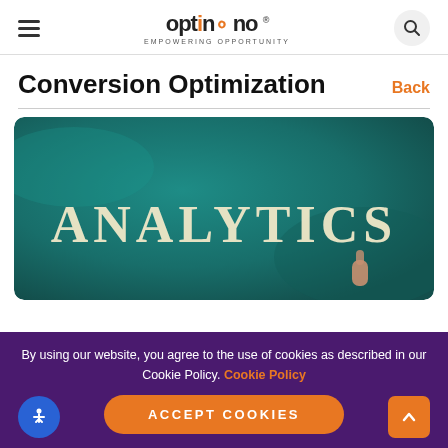Optuno - Empowering Opportunity
Conversion Optimization
Back
[Figure (photo): Photo of a teal chalkboard with the word ANALYTICS spelled out in white block letters, with a hand placing letters.]
By using our website, you agree to the use of cookies as described in our Cookie Policy. Cookie Policy
Accept Cookies